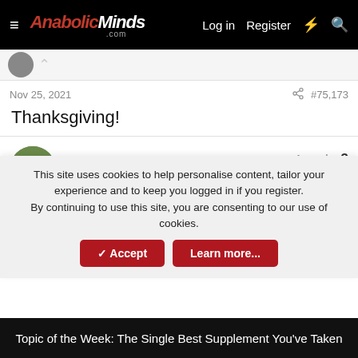AnabolicMinds.com — Log in  Register
Nov 25, 2021  #75,173
Thanksgiving!
SkRaw85  Well-known member  Awards: 3
Nov 25, 2021  #75,174
Happ...
This site uses cookies to help personalise content, tailor your experience and to keep you logged in if you register.
By continuing to use this site, you are consenting to our use of cookies.
Topic of the Week: The Single Best Supplement You've Taken